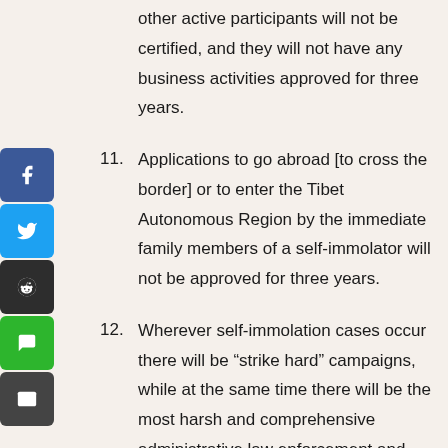other active participants will not be certified, and they will not have any business activities approved for three years.
11. Applications to go abroad [to cross the border] or to enter the Tibet Autonomous Region by the immediate family members of a self-immolator will not be approved for three years.
12. Wherever self-immolation cases occur there will be “strike hard” campaigns, while at the same time there will be the most harsh and comprehensive administrative law enforcement and punishment.
13. In the villages (communities) and